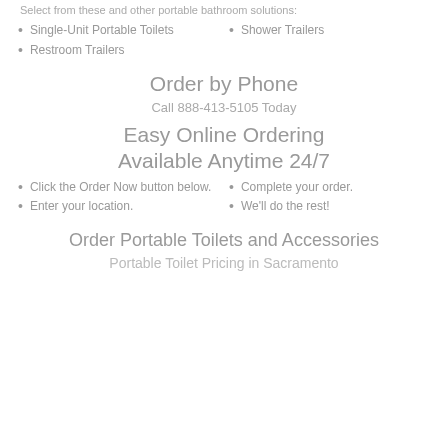Select from these and other portable bathroom solutions:
Single-Unit Portable Toilets
Shower Trailers
Restroom Trailers
Order by Phone
Call 888-413-5105 Today
Easy Online Ordering
Available Anytime 24/7
Click the Order Now button below.
Complete your order.
Enter your location.
We'll do the rest!
Order Portable Toilets and Accessories
Portable Toilet Pricing in Sacramento